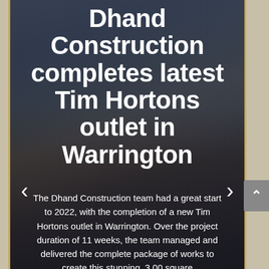[Figure (screenshot): Mobile website screenshot showing a Tim Hortons drive-thru outlet building in the background with dark overlay. White large bold title text overlaid on image.]
Dhand Construction completes latest Tim Hortons outlet in Warrington
The Dhand Construction team had a great start to 2022, with the completion of a new Tim Hortons outlet in Warrington. Over the project duration of 11 weeks, the team managed and delivered the complete package of works to create this stunning, 3,00 square